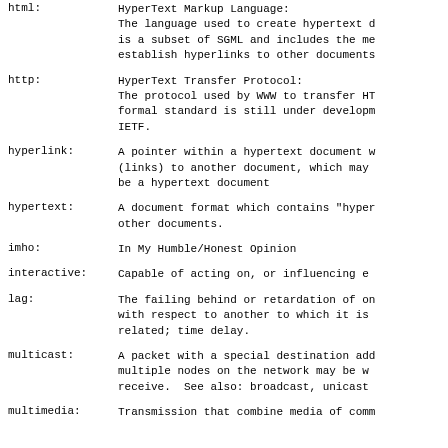html: HyperText Markup Language: The language used to create hypertext documents. It is a subset of SGML and includes the means to establish hyperlinks to other documents.
http: HyperText Transfer Protocol: The protocol used by WWW to transfer HTML documents. formal standard is still under development by IETF.
hyperlink: A pointer within a hypertext document which points (links) to another document, which may or may not be a hypertext document
hypertext: A document format which contains "hyper" links to other documents.
imho: In My Humble/Honest Opinion
interactive: Capable of acting on, or influencing each other.
lag: The failing behind or retardation of one thing with respect to another to which it is related; time delay.
multicast: A packet with a special destination address which multiple nodes on the network may be willing to receive. See also: broadcast, unicast
multimedia: Transmission that combine media of communication.